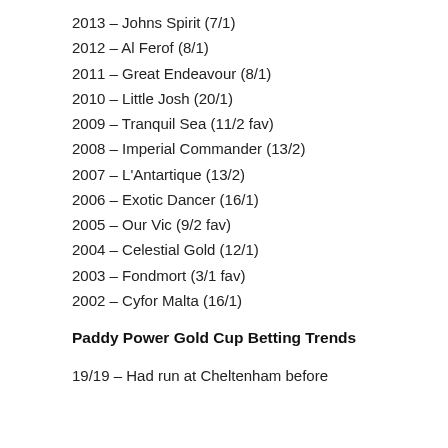2013 – Johns Spirit (7/1)
2012 – Al Ferof (8/1)
2011 – Great Endeavour (8/1)
2010 – Little Josh (20/1)
2009 – Tranquil Sea (11/2 fav)
2008 – Imperial Commander (13/2)
2007 – L'Antartique (13/2)
2006 – Exotic Dancer (16/1)
2005 – Our Vic (9/2 fav)
2004 – Celestial Gold (12/1)
2003 – Fondmort (3/1 fav)
2002 – Cyfor Malta (16/1)
Paddy Power Gold Cup Betting Trends
19/19 – Had run at Cheltenham before